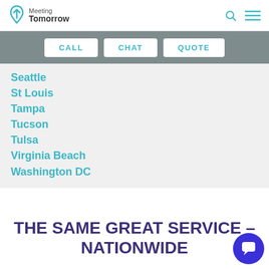Meeting Tomorrow
Seattle
St Louis
Tampa
Tucson
Tulsa
Virginia Beach
Washington DC
THE SAME GREAT SERVICE – NATIONWIDE